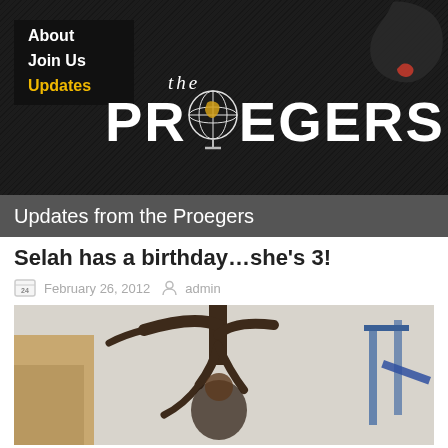the PROEGERS
About
Join Us
Updates
Updates from the Proegers
Selah has a birthday… she's 3!
February 26, 2012   admin
[Figure (photo): Child at a playground with a tree, outdoor scene]